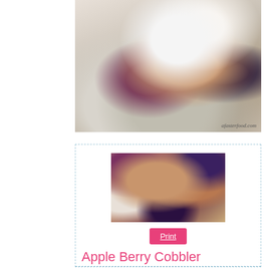[Figure (photo): Overhead photo of a white bowl containing berry cobbler with raspberries and whipped cream, placed on a linen towel. Watermark: afasterfood.com]
[Figure (photo): Overhead photo of apple berry cobbler in a white rectangular baking dish, placed on a cloth with text, inside a dashed border recipe card]
Print
Apple Berry Cobbler